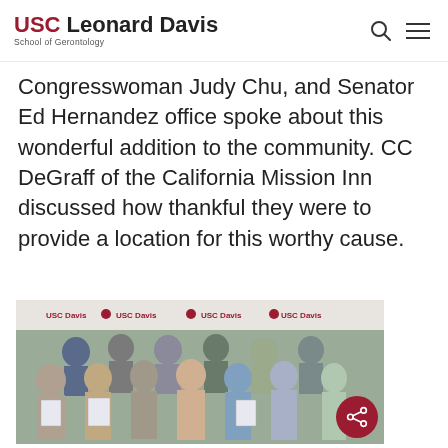USC Leonard Davis School of Gerontology
Congresswoman Judy Chu, and Senator Ed Hernandez office spoke about this wonderful addition to the community. CC DeGraff of the California Mission Inn discussed how thankful they were to provide a location for this worthy cause.
[Figure (photo): Group photo of people standing in front of a USC Davis branded banner. Several people in the front row are holding certificates/awards. The group includes approximately 15 people.]